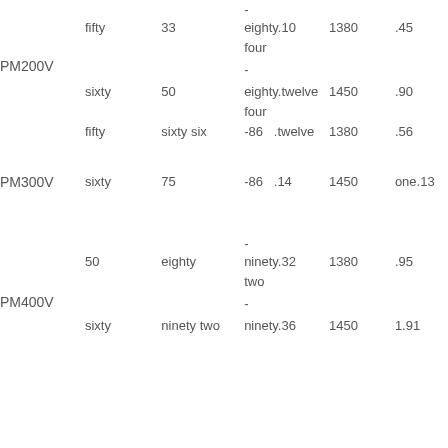| - |  |  |  |  |  |
|  | fifty | 33 | eighty.10 | 1380 | .45 |
|  |  |  | four |  |  |
| PM200V |  |  | - |  |  |
|  | sixty | 50 | eighty.twelve | 1450 | .90 |
|  |  |  | four |  |  |
|  | fifty | sixty six | -86  .twelve | 1380 | .56 |
| PM300V | sixty | 75 | -86  .14 | 1450 | one.13 |
|  |  |  | - |  |  |
|  | 50 | eighty | ninety.32 | 1380 | .95 |
|  |  |  | two |  |  |
| PM400V |  |  | - |  |  |
|  | sixty | ninety two | ninety.36 | 1450 | 1.91 |